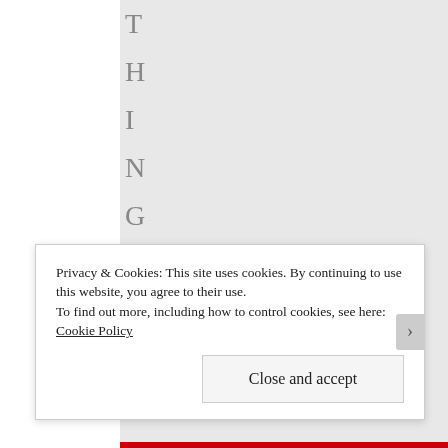T H I N G E X C E P T
Privacy & Cookies: This site uses cookies. By continuing to use this website, you agree to their use.
To find out more, including how to control cookies, see here: Cookie Policy
Close and accept